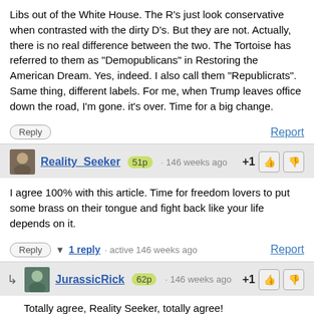Libs out of the White House. The R's just look conservative when contrasted with the dirty D's. But they are not. Actually, there is no real difference between the two. The Tortoise has referred to them as "Demopublicans" in Restoring the American Dream. Yes, indeed. I also call them "Republicrats". Same thing, different labels. For me, when Trump leaves office down the road, I'm gone. it's over. Time for a big change.
Reply | Report
Reality_Seeker 51p · 146 weeks ago +1
I agree 100% with this article. Time for freedom lovers to put some brass on their tongue and fight back like your life depends on it.
Reply | 1 reply · active 146 weeks ago | Report
JurassicRick 62p · 146 weeks ago +1
Totally agree, Reality Seeker, totally agree!
Reply | Report